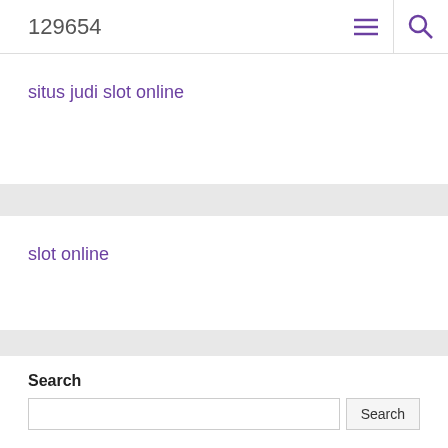129654
situs judi slot online
slot online
Search